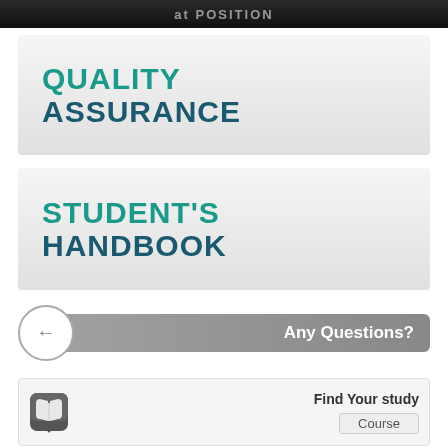at POSITION
QUALITY ASSURANCE
STUDENT'S HANDBOOK
[Figure (infographic): Navigation button with left arrow circle and grey bar reading 'Any Questions?']
Find Your study
Course